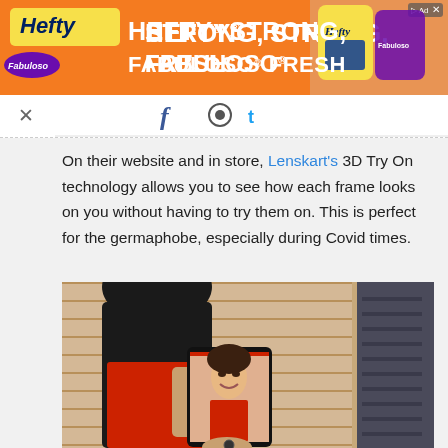[Figure (photo): Hefty and Fabuloso advertisement banner: orange background with text 'HEFTY STRONG, FABULOSO FRESH' and product images]
[Figure (other): Navigation bar with social sharing icons and close button (X)]
On their website and in store, Lenskart's 3D Try On technology allows you to see how each frame looks on you without having to try them on. This is perfect for the germaphobe, especially during Covid times.
[Figure (photo): A woman holding a tablet in an eyeglass store, using a 3D try-on feature showing her face with glasses on the tablet screen. The background shows rows of eyeglass frames on shelves.]